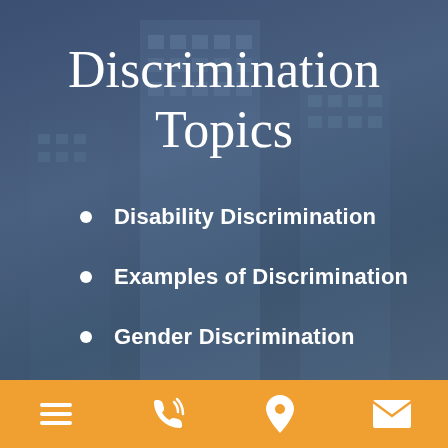Discrimination Topics
Disability Discrimination
Examples of Discrimination
Gender Discrimination
[Figure (infographic): Orange footer bar with four white icons: hamburger menu, phone with signal waves, map pin/location marker, and envelope/email icon]